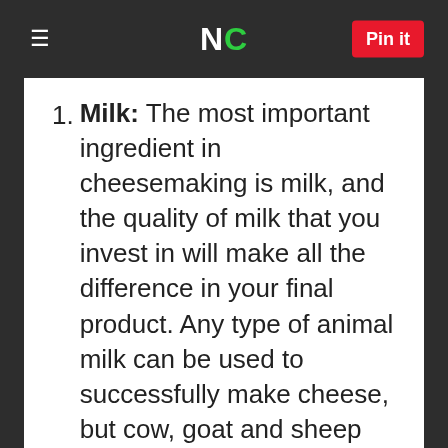NC | Pin it
Milk: The most important ingredient in cheesemaking is milk, and the quality of milk that you invest in will make all the difference in your final product. Any type of animal milk can be used to successfully make cheese, but cow, goat and sheep are by far the most common. Either raw or pasteurized can be used, though ultra-